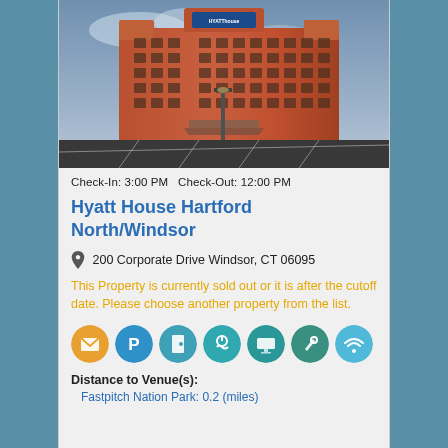[Figure (photo): Exterior photo of Hyatt House Hartford North/Windsor hotel building, a multi-story red-brick hotel with parking lot in foreground, taken at dusk]
Check-In: 3:00 PM  Check-Out: 12:00 PM
Hyatt House Hartford North/Windsor
200 Corporate Drive Windsor, CT 06095
This Property is currently sold out or it is after the cutoff date. Please choose another property from the list.
[Figure (infographic): Row of seven amenity icons: envelope/mail, parking P, door/key, pool/swimming, TV/screen, tools/service, WiFi]
Distance to Venue(s):
Fastpitch Nation Park: 0.2 (miles)